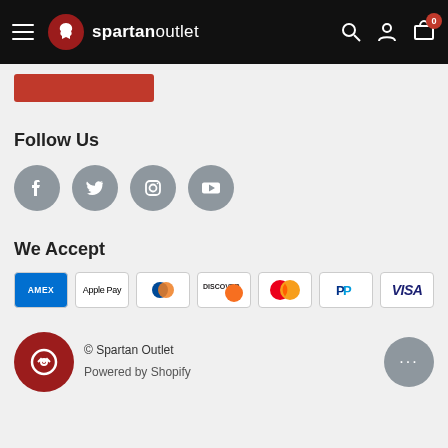spartan outlet — navigation bar with hamburger menu, logo, search, account, and cart icons (badge: 0)
[Figure (screenshot): Red button partially visible below navigation bar]
Follow Us
[Figure (infographic): Social media icons: Facebook, Twitter, Instagram, YouTube — grey circular buttons]
We Accept
[Figure (infographic): Payment method icons: American Express, Apple Pay, Diners Club, Discover, Mastercard, PayPal, Visa]
© Spartan Outlet  Powered by Shopify